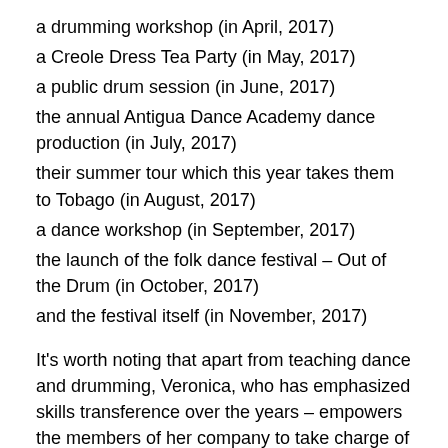a drumming workshop (in April, 2017)
a Creole Dress Tea Party (in May, 2017)
a public drum session (in June, 2017)
the annual Antigua Dance Academy dance production (in July, 2017)
their summer tour which this year takes them to Tobago (in August, 2017)
a dance workshop (in September, 2017)
the launch of the folk dance festival – Out of the Drum (in October, 2017)
and the festival itself (in November, 2017)
It's worth noting that apart from teaching dance and drumming, Veronica, who has emphasized skills transference over the years – empowers the members of her company to take charge of different areas as they grow. This includes the various aspects of theatre arts: